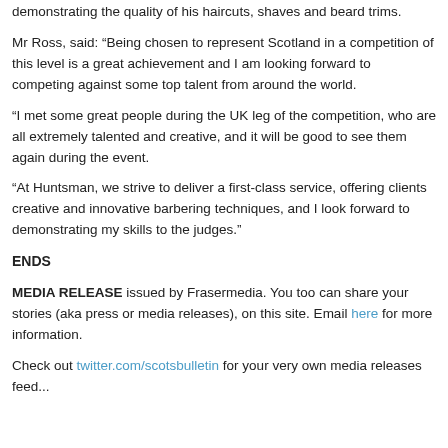demonstrating the quality of his haircuts, shaves and beard trims.
Mr Ross, said: “Being chosen to represent Scotland in a competition of this level is a great achievement and I am looking forward to competing against some top talent from around the world.
“I met some great people during the UK leg of the competition, who are all extremely talented and creative, and it will be good to see them again during the event.
“At Huntsman, we strive to deliver a first-class service, offering clients creative and innovative barbering techniques, and I look forward to demonstrating my skills to the judges.”
ENDS
MEDIA RELEASE issued by Frasermedia. You too can share your stories (aka press or media releases), on this site. Email here for more information.
Check out twitter.com/scotsbulletin for your very own media releases feed...